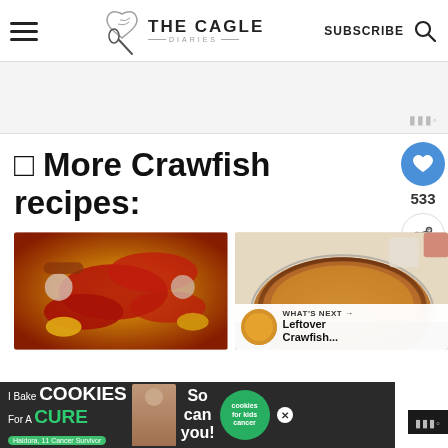THE CAGLE DIARIES — SUBSCRIBE
🦞 More Crawfish recipes:
[Figure (photo): Boiled crawfish with corn on the cob, sausage and garlic on a yellow platter]
[Figure (photo): Crawfish pie with golden brown crust in a pie dish]
WHAT'S NEXT → Leftover Crawfish...
[Figure (screenshot): Bottom advertisement banner: I Bake COOKIES For A CURE — So can you! — Haldora, 11 Cancer Survivor — cookies for kids cancer]